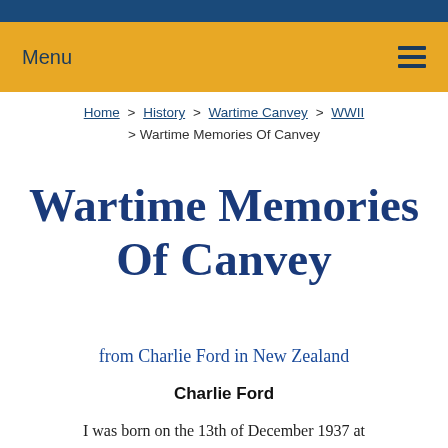Menu ☰
Home > History > Wartime Canvey > WWII > Wartime Memories Of Canvey
Wartime Memories Of Canvey
from Charlie Ford in New Zealand
Charlie Ford
I was born on the 13th of December 1937 at